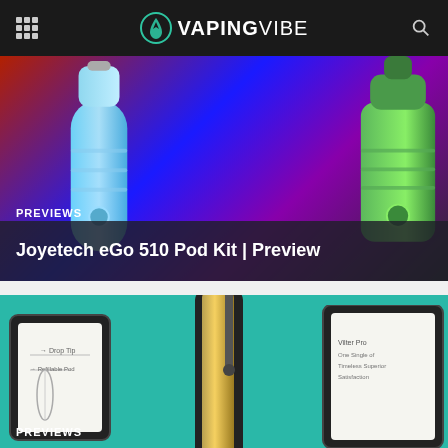VAPINGVIBE
[Figure (photo): Two vape pen devices, one blue/cyan and one green, on a colorful background with purple smoke]
PREVIEWS
Joyetech eGo 510 Pod Kit | Preview
[Figure (photo): Vaping pen device in gold/black on teal background with tablet/card accessories]
PREVIEWS